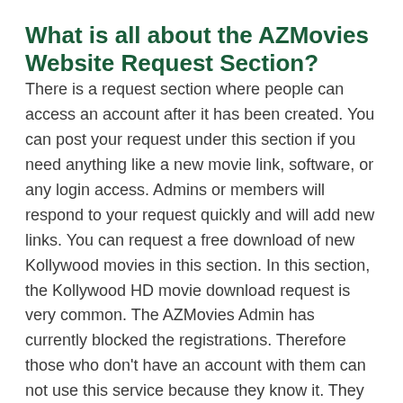What is all about the AZMovies Website Request Section?
There is a request section where people can access an account after it has been created. You can post your request under this section if you need anything like a new movie link, software, or any login access. Admins or members will respond to your request quickly and will add new links. You can request a free download of new Kollywood movies in this section. In this section, the Kollywood HD movie download request is very common. The AZMovies Admin has currently blocked the registrations. Therefore those who don't have an account with them can not use this service because they know it. They could probably open the